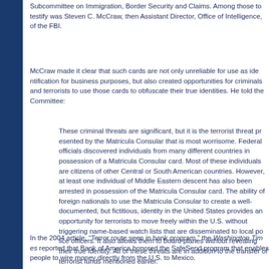Subcommittee on Immigration, Border Security and Claims. Among those to testify was Steven C. McCraw, then Assistant Director, Office of Intelligence, of the FBI.
McCraw made it clear that such cards are not only unreliable for use as identification for business purposes, but also created opportunities for criminals and terrorists to use those cards to obfuscate their true identities. He told the Committee:
These criminal threats are significant, but it is the terrorist threat presented by the Matricula Consular that is most worrisome. Federal officials have discovered individuals from many different countries in possession of a Matricula Consular card. Most of these individuals are citizens of other Central or South American countries. However, at least one individual of Middle Eastern descent has also been arrested in possession of the Matricula Consular card. The ability of foreign nationals to use the Matricula Consular to create a well-documented, but fictitious, identity in the United States provides an opportunity for terrorists to move freely within the U.S. without triggering name-based watch lists that are disseminated to local police officers. It also allows them to board planes without revealing their true identity. All of these threats are in addition to the transfer of terrorist funds mentioned earlier.
In the 2004 article, “Terror route seen in bank program,” the Washington Times reported that Bank of America honored the SafeSend program that enables people to wire money directly from the U.S. to Mexico.